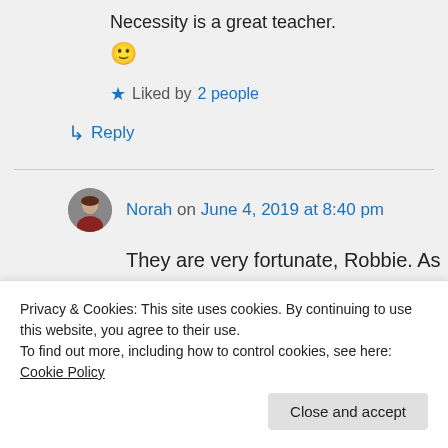Necessity is a great teacher.
🙂
★ Liked by 2 people
↳ Reply
Norah on June 4, 2019 at 8:40 pm
They are very fortunate, Robbie. As
Privacy & Cookies: This site uses cookies. By continuing to use this website, you agree to their use.
To find out more, including how to control cookies, see here: Cookie Policy
Close and accept